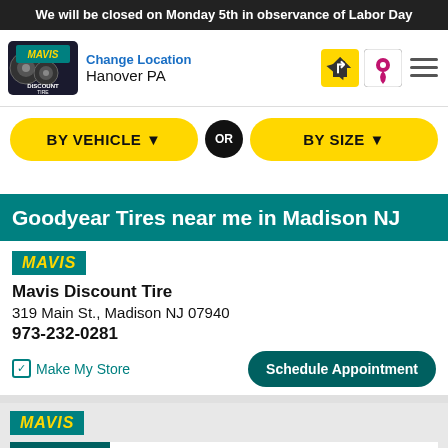We will be closed on Monday 5th in observance of Labor Day
[Figure (logo): Mavis Discount Tire logo]
Change Location
Hanover PA
BY VEHICLE ▼  OR  BY SIZE ▼
Goodyear Tires near me in Madison NJ
[Figure (logo): MAVIS badge logo]
Mavis Discount Tire
319 Main St., Madison NJ 07940
973-232-0281
✓ Make My Store   Schedule Appointment
[Figure (logo): MAVIS badge logo second store]
Call Store
t Tire
Morristown NJ 07960